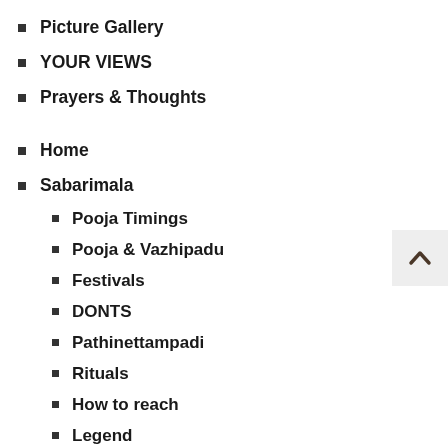Picture Gallery
YOUR VIEWS
Prayers & Thoughts
Home
Sabarimala
Pooja Timings
Pooja & Vazhipadu
Festivals
DONTS
Pathinettampadi
Rituals
How to reach
Legend
Distance Chart
Donations
[Figure (other): Scroll-to-top button with upward chevron arrow on light grey background]